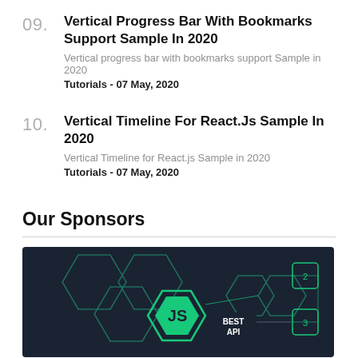09. Vertical Progress Bar With Bookmarks Support Sample In 2020
Vertical progress bar with bookmarks support Sample in 2020
Tutorials - 07 May, 2020
10. Vertical Timeline For React.Js Sample In 2020
Vertical Timeline for React.js Sample in 2020
Tutorials - 07 May, 2020
Our Sponsors
[Figure (illustration): Dark navy background with teal hexagon network and Node.js logo (JS in hexagon), labeled 'BEST API']